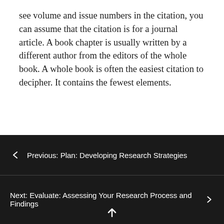see volume and issue numbers in the citation, you can assume that the citation is for a journal article. A book chapter is usually written by a different author from the editors of the whole book. A whole book is often the easiest citation to decipher. It contains the fewest elements.
Citation to a Book: APA
Kapucu, N. (2013). Managing emergencies and crises. Burlington, MA: Jones and Bartlett Learning
← Previous: Plan: Developing Research Strategies
Next: Evaluate: Assessing Your Research Process and Findings →